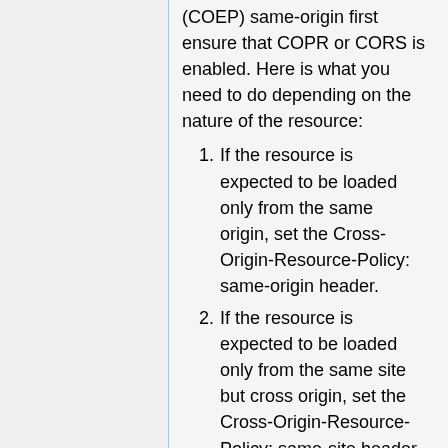(COEP) same-origin  first ensure that COPR or CORS is enabled. Here is what you need to do depending on the nature of the resource:
If the resource is expected to be loaded only from the same origin, set the Cross-Origin-Resource-Policy: same-origin header.
If the resource is expected to be loaded only from the same site but cross origin, set the Cross-Origin-Resource-Policy: same-site header.
If the resource is loaded from cross origin(s) under your control, set the